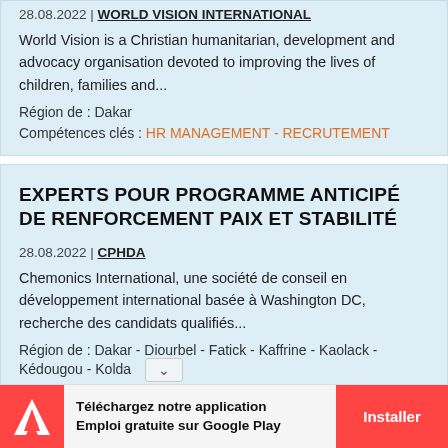28.08.2022 | WORLD VISION INTERNATIONAL
World Vision is a Christian humanitarian, development and advocacy organisation devoted to improving the lives of children, families and...
Région de : Dakar
Compétences clés : HR MANAGEMENT - RECRUTEMENT
EXPERTS POUR PROGRAMME ANTICIPÉ DE RENFORCEMENT PAIX ET STABILITÉ
28.08.2022 | CPHDA
Chemonics International, une société de conseil en développement international basée à Washington DC, recherche des candidats qualifiés...
Région de : Dakar - Diourbel - Fatick - Kaffrine - Kaolack - Kédougou - Kolda
Téléchargez notre application Emploi gratuite sur Google Play
Installer